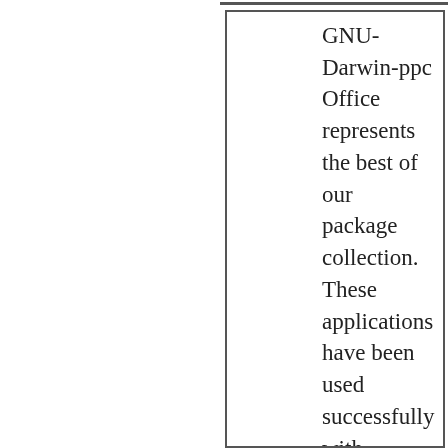GNU-Darwin-ppc Office represents the best of our package collection. These applications have been used successfully with Darwin and Mac OS X for heavy duty scientific calculation, authoring papers and progress reports, high resolution graphics production, and all in a